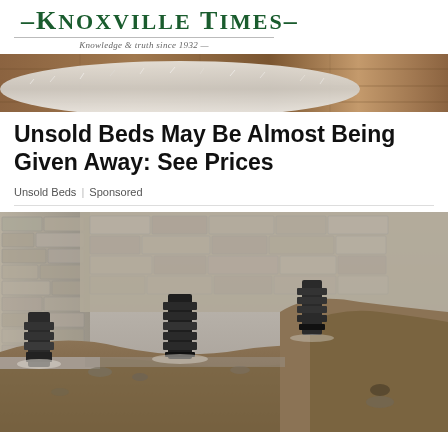Knoxville Times — Knowledge & truth since 1932
[Figure (photo): Banner photo showing a white fluffy rug on a wooden floor, close-up view]
Unsold Beds May Be Almost Being Given Away: See Prices
Unsold Beds | Sponsored
[Figure (photo): Construction/excavation photo showing a building foundation with steel helical piers installed against a stone/brick wall, with excavated dirt in foreground]